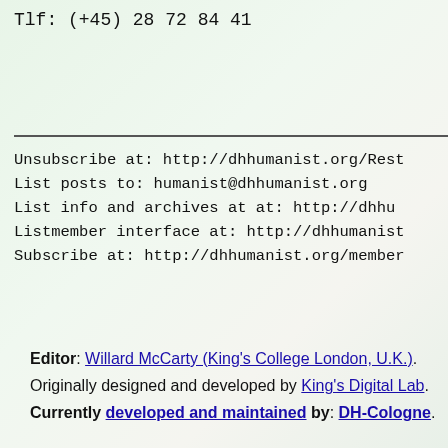Tlf: (+45) 28 72 84 41
Unsubscribe at: http://dhhumanist.org/Rest
List posts to: humanist@dhhumanist.org
List info and archives at at: http://dhhu
Listmember interface at: http://dhhumanist
Subscribe at: http://dhhumanist.org/member
Editor: Willard McCarty (King's College London, U.K.). Originally designed and developed by King's Digital Lab. Currently developed and maintained by: DH-Cologne.